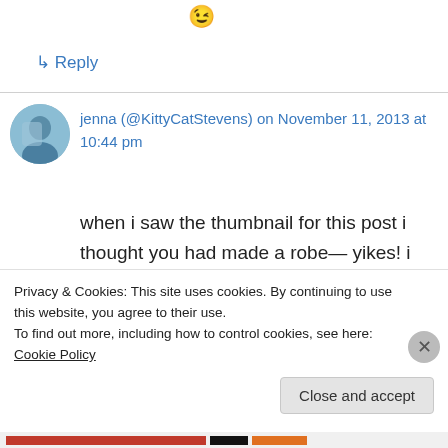[Figure (illustration): Small winking/smirking emoji face icon]
↳ Reply
jenna (@KittyCatStevens) on November 11, 2013 at 10:44 pm
when i saw the thumbnail for this post i thought you had made a robe— yikes! i have a hard enough time shopping for coats, i can't even imagine making one. coats fit my everywhere but the shoulder/arm i dk. i just freeze and get bitter
Privacy & Cookies: This site uses cookies. By continuing to use this website, you agree to their use.
To find out more, including how to control cookies, see here: Cookie Policy
Close and accept